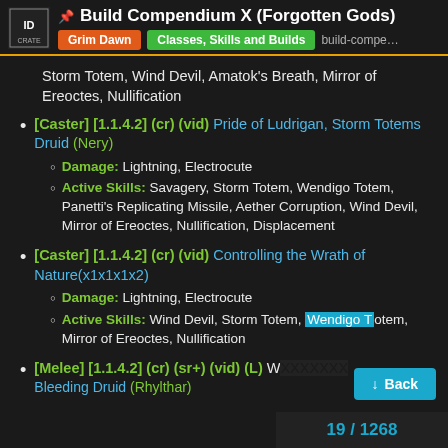Build Compendium X (Forgotten Gods) | Grim Dawn | Classes, Skills and Builds | build-compe...
Storm Totem, Wind Devil, Amatok's Breath, Mirror of Ereoctes, Nullification
[Caster] [1.1.4.2] (cr) (vid) Pride of Ludrigan, Storm Totems Druid (Nery) — Damage: Lightning, Electrocute — Active Skills: Savagery, Storm Totem, Wendigo Totem, Panetti's Replicating Missile, Aether Corruption, Wind Devil, Mirror of Ereoctes, Nullification, Displacement
[Caster] [1.1.4.2] (cr) (vid) Controlling the Wrath of Nature(x1x1x1x2) — Damage: Lightning, Electrocute — Active Skills: Wind Devil, Storm Totem, Wendigo Totem, Mirror of Ereoctes, Nullification
[Melee] [1.1.4.2] (cr) (sr+) (vid) (L) W... Bleeding Druid (Rhylthar)
19 / 1268